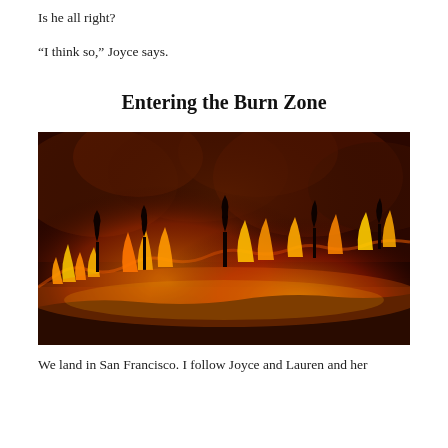Is he all right?
“I think so,” Joyce says.
Entering the Burn Zone
[Figure (photo): Wildfire burning along a hillside at night, with orange and yellow flames visible along a ridge, silhouetted trees, and smoke filling the dark sky above.]
We land in San Francisco. I follow Joyce and Lauren and her